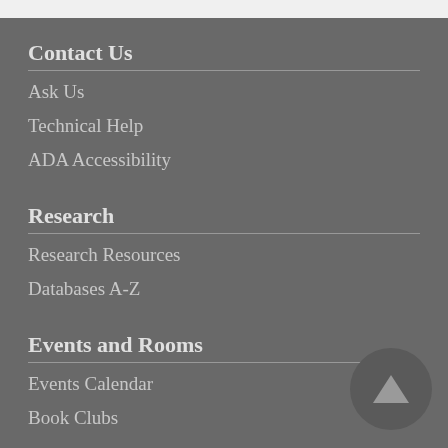Contact Us
Ask Us
Technical Help
ADA Accessibility
Research
Research Resources
Databases A-Z
Events and Rooms
Events Calendar
Book Clubs